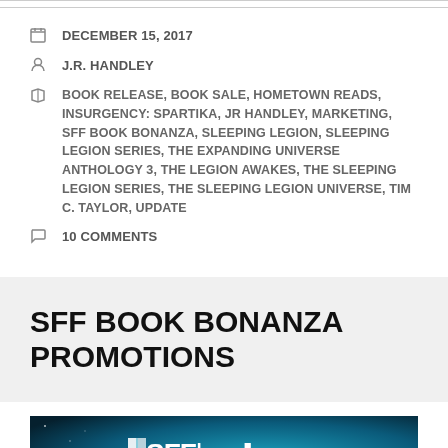DECEMBER 15, 2017
J.R. HANDLEY
BOOK RELEASE, BOOK SALE, HOMETOWN READS, INSURGENCY: SPARTIKA, JR HANDLEY, MARKETING, SFF BOOK BONANZA, SLEEPING LEGION, SLEEPING LEGION SERIES, THE EXPANDING UNIVERSE ANTHOLOGY 3, THE LEGION AWAKES, THE SLEEPING LEGION SERIES, THE SLEEPING LEGION UNIVERSE, TIM C. TAYLOR, UPDATE
10 COMMENTS
SFF BOOK BONANZA PROMOTIONS
[Figure (logo): SFF Book Bonanza banner logo with text 'Discover Science Fiction and Fantasy Books' on a dark blue/teal space background]